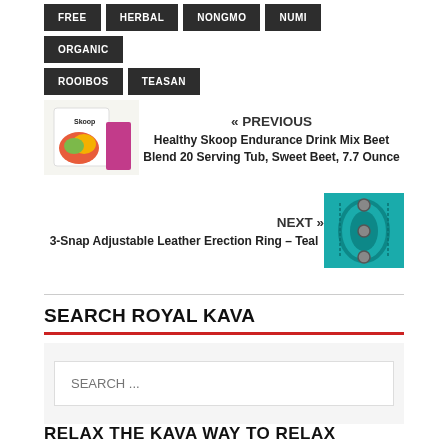FREE
HERBAL
NONGMO
NUMI
ORGANIC
ROOIBOS
TEASAN
« PREVIOUS
Healthy Skoop Endurance Drink Mix Beet Blend 20 Serving Tub, Sweet Beet, 7.7 Ounce
[Figure (photo): Thumbnail image of Healthy Skoop product packaging]
NEXT »
3-Snap Adjustable Leather Erection Ring – Teal
[Figure (photo): Thumbnail image of teal leather ring product]
SEARCH ROYAL KAVA
SEARCH ...
RELAX THE KAVA WAY TO RELAX